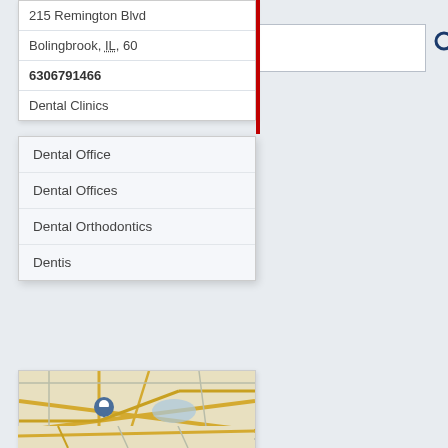215 Remington Blvd
Bolingbrook, IL, 60
6306791466
Dental Clinics
Dental Office
Dental Offices
Dental Orthodontics
Dentis
[Figure (map): Street map showing Bolingbrook IL area with location pin marker]
FRENZEL TYSON C DDS
160 E Boughton Rd
Bolingbrook, IL, 60440
6307598940
Dental Clinics
Dental Offices
Dental Orthodontics
Dentis
Dentist
[Figure (map): Partial street map at bottom of page]